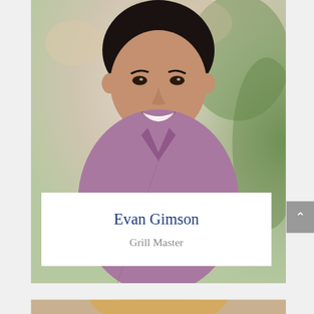[Figure (photo): Portrait photo of a smiling young Asian man wearing a purple/lavender button-up shirt, photographed outdoors with a blurred green and beige background]
Evan Gimson
Grill Master
[Figure (photo): Partial portrait photo at bottom of page showing the top of a blonde woman's head, cropped]